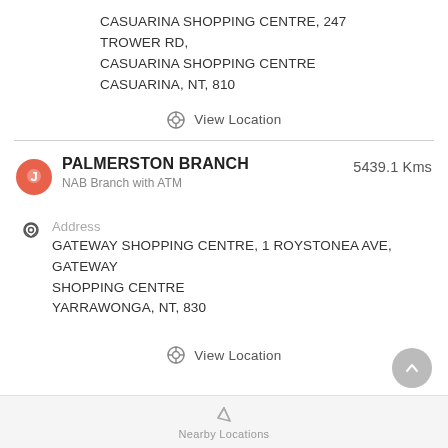CASUARINA SHOPPING CENTRE, 247 TROWER RD, CASUARINA SHOPPING CENTRE
CASUARINA, NT, 810
View Location
PALMERSTON BRANCH
NAB Branch with ATM
5439.1 Kms
Address
GATEWAY SHOPPING CENTRE, 1 ROYSTONEA AVE, GATEWAY SHOPPING CENTRE
YARRAWONGA, NT, 830
View Location
Nearby Locations